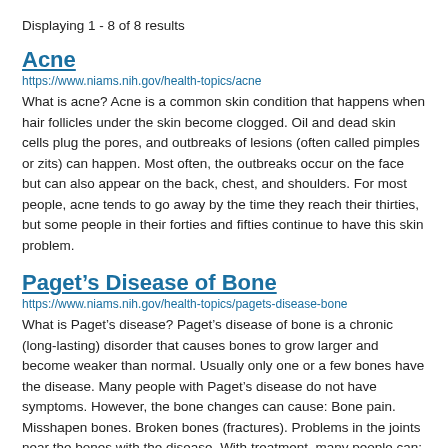Displaying 1 - 8 of 8 results
Acne
https://www.niams.nih.gov/health-topics/acne
What is acne? Acne is a common skin condition that happens when hair follicles under the skin become clogged. Oil and dead skin cells plug the pores, and outbreaks of lesions (often called pimples or zits) can happen. Most often, the outbreaks occur on the face but can also appear on the back, chest, and shoulders. For most people, acne tends to go away by the time they reach their thirties, but some people in their forties and fifties continue to have this skin problem.
Paget’s Disease of Bone
https://www.niams.nih.gov/health-topics/pagets-disease-bone
What is Paget’s disease? Paget’s disease of bone is a chronic (long-lasting) disorder that causes bones to grow larger and become weaker than normal. Usually only one or a few bones have the disease. Many people with Paget’s disease do not have symptoms. However, the bone changes can cause: Bone pain. Misshapen bones. Broken bones (fractures). Problems in the joints near the bones with the disease. With treatment, many people can: Manage their symptoms. Improve pain. Control the effects of the disease.